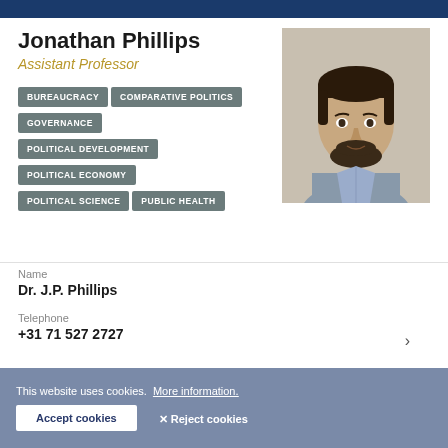Jonathan Phillips
Assistant Professor
BUREAUCRACY
COMPARATIVE POLITICS
GOVERNANCE
POLITICAL DEVELOPMENT
POLITICAL ECONOMY
POLITICAL SCIENCE
PUBLIC HEALTH
[Figure (photo): Headshot photo of Jonathan Phillips, a young man with dark hair and a beard, wearing a plaid shirt]
Name
Dr. J.P. Phillips
Telephone
+31 71 527 2727
This website uses cookies. More information.
Accept cookies
✕ Reject cookies